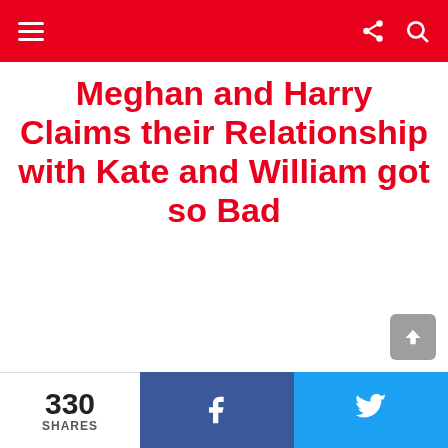Navigation bar with hamburger menu, share icon, and search icon
Meghan and Harry Claims their Relationship with Kate and William got so Bad
330 SHARES | Facebook share button | Twitter share button